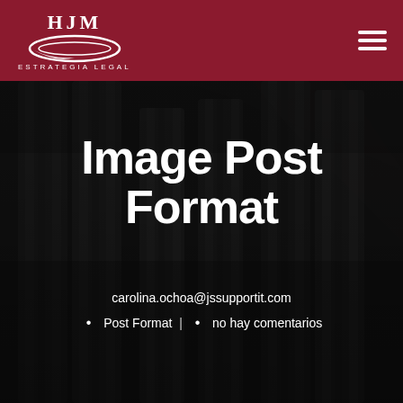[Figure (logo): HJM Estrategia Legal logo with swoosh graphic, white on dark red background]
[Figure (photo): Dark background photograph of classical stone columns]
Image Post Format
carolina.ochoa@jssupportit.com
• Post Format  •  no hay comentarios